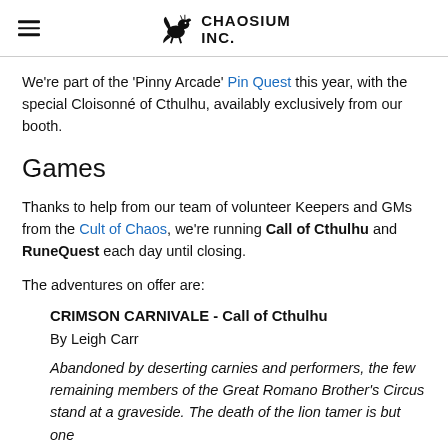Chaosium Inc. (logo with hamburger menu)
We're part of the 'Pinny Arcade' Pin Quest this year, with the special Cloisonné of Cthulhu, availably exclusively from our booth.
Games
Thanks to help from our team of volunteer Keepers and GMs from the Cult of Chaos, we're running Call of Cthulhu and RuneQuest each day until closing.
The adventures on offer are:
CRIMSON CARNIVALE - Call of Cthulhu
By Leigh Carr
Abandoned by deserting carnies and performers, the few remaining members of the Great Romano Brother's Circus stand at a graveside. The death of the lion tamer is but one